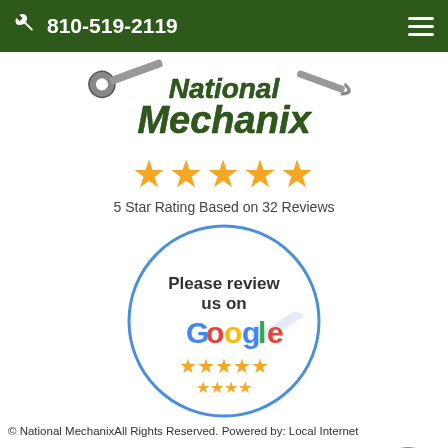810-519-2119
[Figure (logo): National Mechanix logo with wrench graphic, green italic text]
[Figure (infographic): 5 gold stars rating display]
5 Star Rating Based on 32 Reviews
[Figure (illustration): Please review us on Google badge with Google stars]
© National MechanixAll Rights Reserved. Powered by: Local Internet
[Figure (infographic): HOURS and MAP buttons and phone call FAB button]